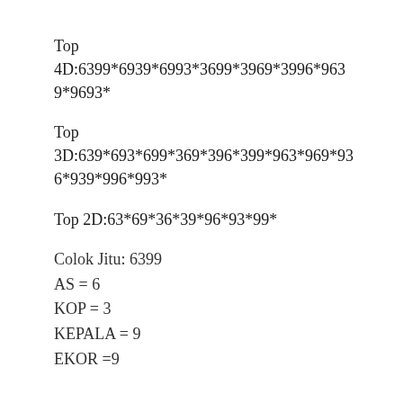Top
4D:6399*6939*6993*3699*3969*3996*9639*9693*
Top
3D:639*693*699*369*396*399*963*969*936*939*996*993*
Top 2D:63*69*36*39*96*93*99*
Colok Jitu: 6399
AS = 6
KOP = 3
KEPALA = 9
EKOR =9